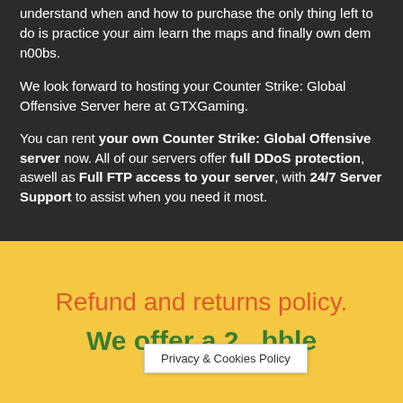understand when and how to purchase the only thing left to do is practice your aim learn the maps and finally own dem n00bs.
We look forward to hosting your Counter Strike: Global Offensive Server here at GTXGaming.
You can rent your own Counter Strike: Global Offensive server now. All of our servers offer full DDoS protection, aswell as Full FTP access to your server, with 24/7 Server Support to assist when you need it most.
Refund and returns policy.
We offer a 2[...]bble
Privacy & Cookies Policy